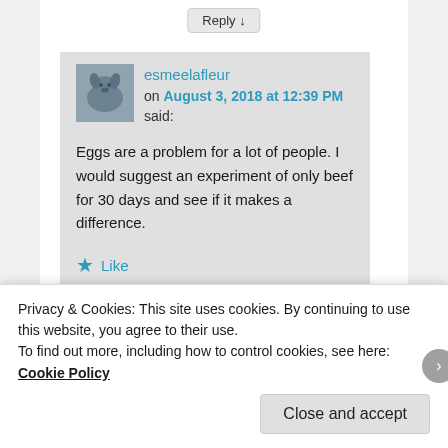Reply ↓
esmeelafleur on August 3, 2018 at 12:39 PM said:
Eggs are a problem for a lot of people. I would suggest an experiment of only beef for 30 days and see if it makes a difference.
★ Like
Reply ↓
Privacy & Cookies: This site uses cookies. By continuing to use this website, you agree to their use.
To find out more, including how to control cookies, see here: Cookie Policy
Close and accept